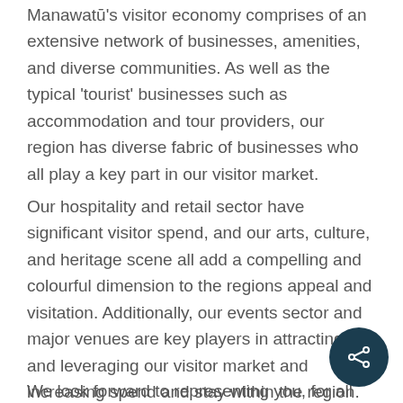Manawatū's visitor economy comprises of an extensive network of businesses, amenities, and diverse communities. As well as the typical 'tourist' businesses such as accommodation and tour providers, our region has diverse fabric of businesses who all play a key part in our visitor market.
Our hospitality and retail sector have significant visitor spend, and our arts, culture, and heritage scene all add a compelling and colourful dimension to the regions appeal and visitation. Additionally, our events sector and major venues are key players in attracting and leveraging our visitor market and increasing spend and stay within the region.
We look forward to representing you, for all that...